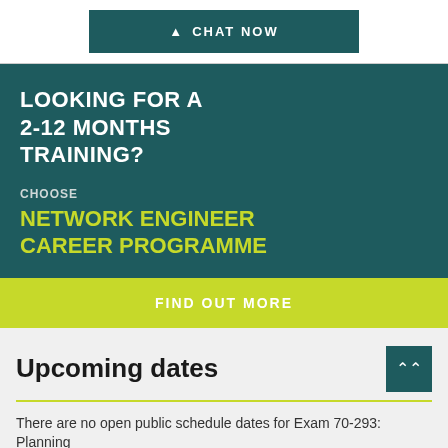CHAT NOW
LOOKING FOR A 2-12 MONTHS TRAINING?
CHOOSE
NETWORK ENGINEER CAREER PROGRAMME
FIND OUT MORE
Upcoming dates
There are no open public schedule dates for Exam 70-293: Planning